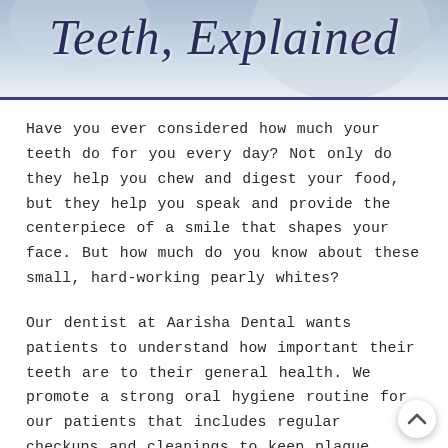[Figure (photo): Background header photo of a smiling person, partially visible, with blue-gray gradient overlay and decorative script title 'Teeth, Explained' in dark navy cursive font, underlined with a dark blue horizontal rule.]
Teeth, Explained
Have you ever considered how much your teeth do for you every day? Not only do they help you chew and digest your food, but they help you speak and provide the centerpiece of a smile that shapes your face. But how much do you know about these small, hard-working pearly whites?
Our dentist at Aarisha Dental wants patients to understand how important their teeth are to their general health. We promote a strong oral hygiene routine for our patients that includes regular checkups and cleanings to keep plaque, tartar, and bacteria from making themselves at home in your mouth.